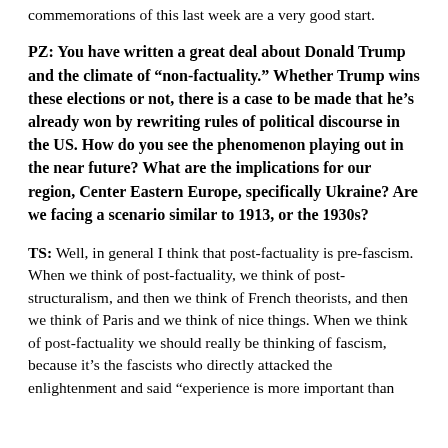commemorations of this last week are a very good start.
PZ: You have written a great deal about Donald Trump and the climate of “non-factuality.” Whether Trump wins these elections or not, there is a case to be made that he’s already won by rewriting rules of political discourse in the US. How do you see the phenomenon playing out in the near future? What are the implications for our region, Center Eastern Europe, specifically Ukraine? Are we facing a scenario similar to 1913, or the 1930s?
TS: Well, in general I think that post-factuality is pre-fascism. When we think of post-factuality, we think of post-structuralism, and then we think of French theorists, and then we think of Paris and we think of nice things. When we think of post-factuality we should really be thinking of fascism, because it’s the fascists who directly attacked the enlightenment and said “experience is more important than ...